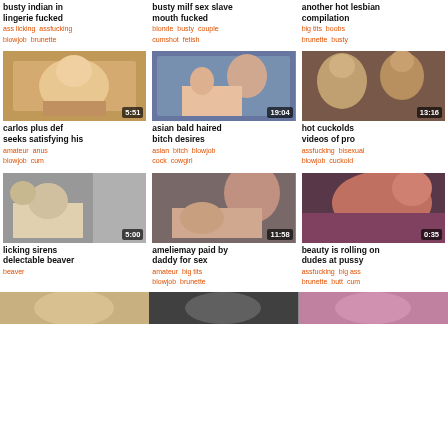busty indian in lingerie fucked
ass licking  assfucking  blowjob  brunette
busty milf sex slave mouth fucked
blonde  busty  couple  cumshot  fetish
another hot lesbian compilation
big tits  boobs  brunette  busty
[Figure (photo): Video thumbnail 5:51]
carlos plus def seeks satisfying his
amateur  anus  blowjob  cum
[Figure (photo): Video thumbnail 19:04]
asian bald haired bitch desires
asian  bitch  blowjob  cock  cowgirl
[Figure (photo): Video thumbnail 13:16]
hot cuckolds videos of pro
assfucking  bisexual  blowjob  cuckold
[Figure (photo): Video thumbnail 5:00]
licking sirens delectable beaver
beaver
[Figure (photo): Video thumbnail 11:58]
ameliemay paid by daddy for sex
amateur  big tits  blowjob  brunette
[Figure (photo): Video thumbnail 0:35]
beauty is rolling on dudes at pussy
assfucking  big ass  brunette  butt  cum
[Figure (photo): Bottom partial thumbnail row]